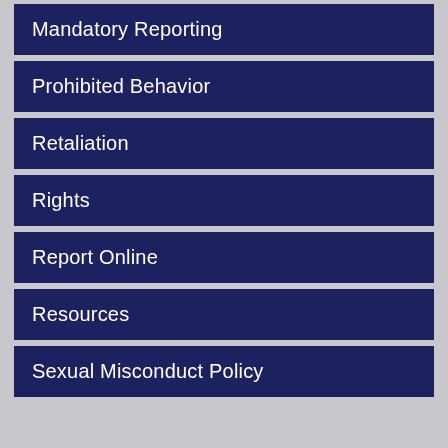Mandatory Reporting
Prohibited Behavior
Retaliation
Rights
Report Online
Resources
Sexual Misconduct Policy